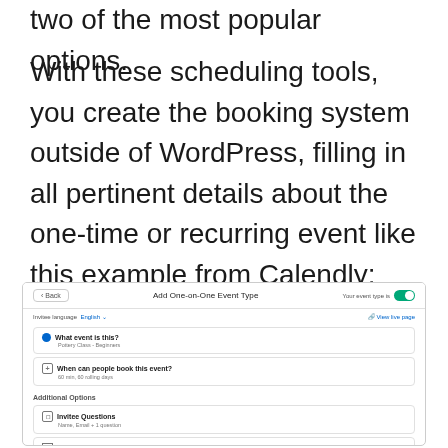two of the most popular options.
With these scheduling tools, you create the booking system outside of WordPress, filling in all pertinent details about the one-time or recurring event like this example from Calendly:
[Figure (screenshot): Calendly 'Add One-on-One Event Type' interface showing Back button, event title, toggle switch set to On, invitee language set to English, sections for 'What event is this?' (Pottery Class - Beginners), 'When can people book this event?' (60 min, 60 rolling days), and Additional Options including Invitee Questions, Notifications and Cancellation Policy, and Confirmation Page.]